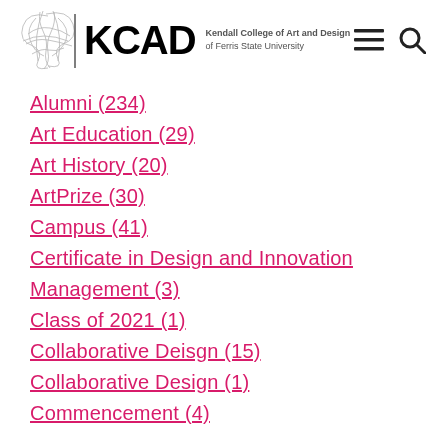KCAD — Kendall College of Art and Design of Ferris State University
Alumni (234)
Art Education (29)
Art History (20)
ArtPrize (30)
Campus (41)
Certificate in Design and Innovation Management (3)
Class of 2021 (1)
Collaborative Deisgn (15)
Collaborative Design (1)
Commencement (4)